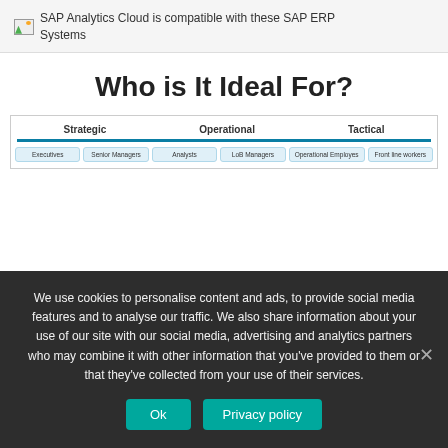[Figure (screenshot): Broken image placeholder with text: SAP Analytics Cloud is compatible with these SAP ERP Systems]
Who is It Ideal For?
[Figure (infographic): Diagram showing Strategic, Operational, and Tactical categories with pills: Executives, Senior Managers, Analysts, LoB Managers, Operational Employes, Front line workers]
We use cookies to personalise content and ads, to provide social media features and to analyse our traffic. We also share information about your use of our site with our social media, advertising and analytics partners who may combine it with other information that you've provided to them or that they've collected from your use of their services.
Ok   Privacy policy